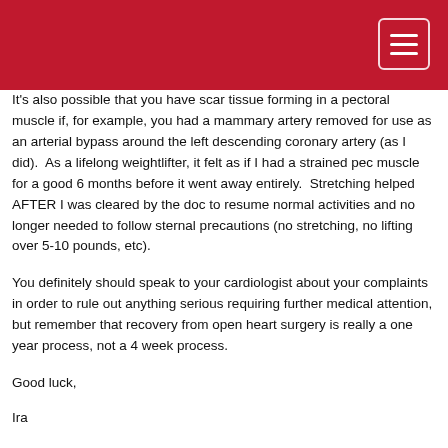It's also possible that you have scar tissue forming in a pectoral muscle if, for example, you had a mammary artery removed for use as an arterial bypass around the left descending coronary artery (as I did).  As a lifelong weightlifter, it felt as if I had a strained pec muscle for a good 6 months before it went away entirely.  Stretching helped AFTER I was cleared by the doc to resume normal activities and no longer needed to follow sternal precautions (no stretching, no lifting over 5-10 pounds, etc).
You definitely should speak to your cardiologist about your complaints in order to rule out anything serious requiring further medical attention, but remember that recovery from open heart surgery is really a one year process, not a 4 week process.
Good luck,
Ira
--------------------------------
Ira Reid
Hoboken NJ